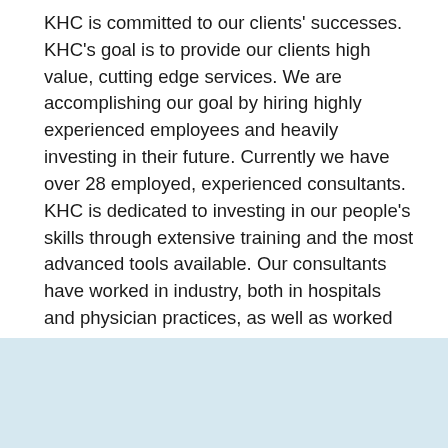KHC is committed to our clients' successes. KHC's goal is to provide our clients high value, cutting edge services. We are accomplishing our goal by hiring highly experienced employees and heavily investing in their future. Currently we have over 28 employed, experienced consultants. KHC is dedicated to investing in our people's skills through extensive training and the most advanced tools available. Our consultants have worked in industry, both in hospitals and physician practices, as well as worked for large consulting firms. We are credentialed nurses, accountants, and coders.